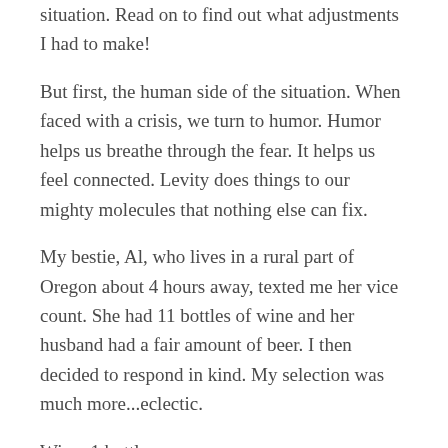situation. Read on to find out what adjustments I had to make!
But first, the human side of the situation. When faced with a crisis, we turn to humor. Humor helps us breathe through the fear. It helps us feel connected. Levity does things to our mighty molecules that nothing else can fix.
My bestie, Al, who lives in a rural part of Oregon about 4 hours away, texted me her vice count. She had 11 bottles of wine and her husband had a fair amount of beer. I then decided to respond in kind. My selection was much more...eclectic.
Wine: 1 bottle
Sake: 1 bottle
Sangria: 1 bottle